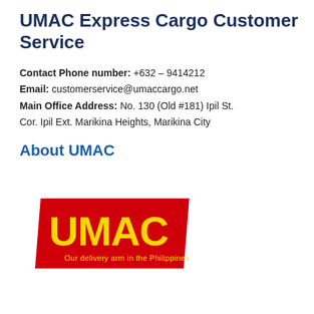UMAC Express Cargo Customer Service
Contact Phone number: +632 – 9414212
Email: customerservice@umaccargo.net
Main Office Address: No. 130 (Old #181) Ipil St. Cor. Ipil Ext. Marikina Heights, Marikina City
About UMAC
[Figure (logo): UMAC Express Cargo logo — red parallelogram background with yellow 'UMAC' text and yellow tagline 'Our delivery arm in the Philippines']